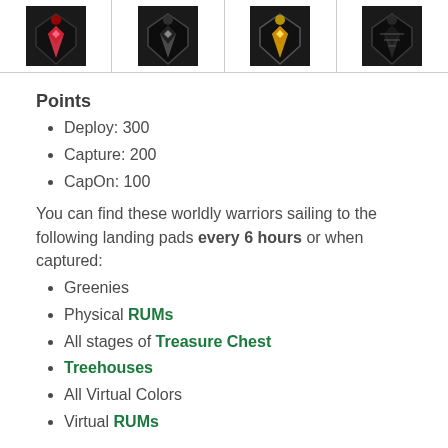[Figure (illustration): Four game badge/pin icons in a row, each showing a diamond-shaped design with dark background and colored accents (red, black, yellow/gold), separated by vertical lines]
Points
Deploy: 300
Capture: 200
CapOn: 100
You can find these worldly warriors sailing to the following landing pads every 6 hours or when captured:
Greenies
Physical RUMs
All stages of Treasure Chest
Treehouses
All Virtual Colors
Virtual RUMs